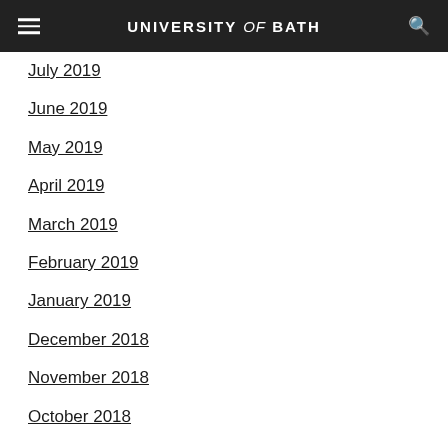UNIVERSITY of BATH
July 2019
June 2019
May 2019
April 2019
March 2019
February 2019
January 2019
December 2018
November 2018
October 2018
September 2018